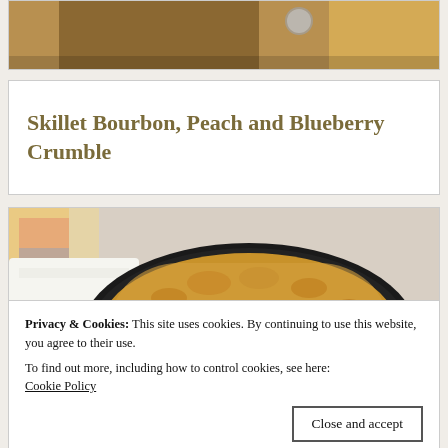[Figure (photo): Partial food photo at top of page, cropped]
Skillet Bourbon, Peach and Blueberry Crumble
[Figure (photo): Photo of a skillet with bourbon peach blueberry crumble, with a label reading 'Skillet Bourbon' visible in foreground]
Privacy & Cookies: This site uses cookies. By continuing to use this website, you agree to their use.
To find out more, including how to control cookies, see here:
Cookie Policy
Close and accept